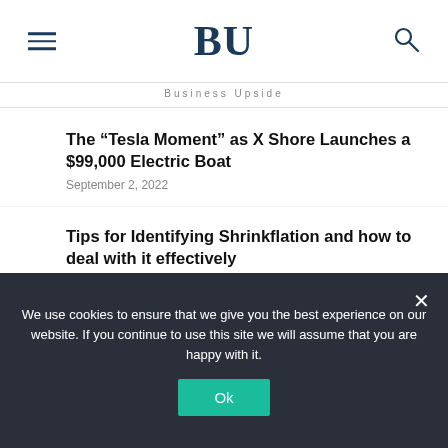BU — Business Upside
The “Tesla Moment” as X Shore Launches a $99,000 Electric Boat
September 2, 2022
Tips for Identifying Shrinkflation and how to deal with it effectively
September 2, 2022
Another Indian Origin Gets to Reign Starbucks
September 2, 2022
We use cookies to ensure that we give you the best experience on our website. If you continue to use this site we will assume that you are happy with it.